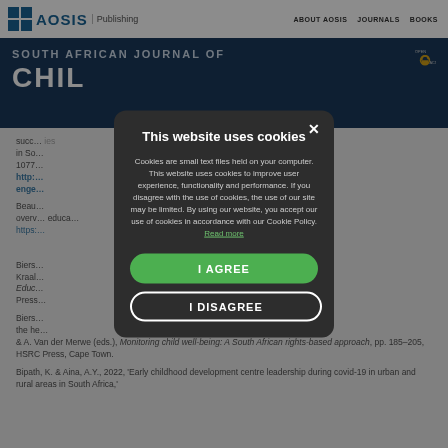AOSIS Publishing | ABOUT AOSIS | JOURNALS | BOOKS
SOUTH AFRICAN JOURNAL OF CHILD...
Cookies are small text files held on your computer. This website uses cookies to improve user experience, functionality and performance. If you disagree with the use of cookies, the use of our site may be limited. By using our website, you accept our use of cookies in accordance with our Cookie Policy. Read more
I AGREE
I DISAGREE
Biers... Monitoring child well-being: A South African rights-based approach, pp. 185–205, HSRC Press, Cape Town.
Bipath, K. & Aina, A.Y., 2022, 'Early childhood development centre leadership during covid-19 in urban and rural areas in South Africa,'